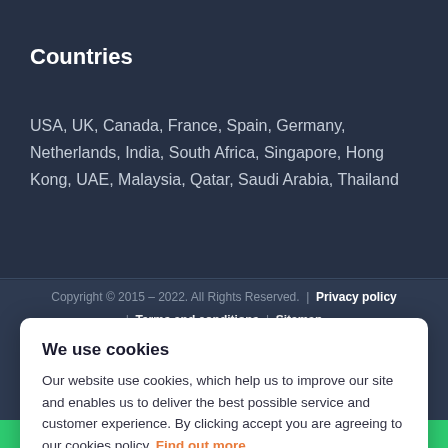Countries
USA, UK, Canada, France, Spain, Germany, Netherlands, India, South Africa, Singapore, Hong Kong, UAE, Malaysia, Qatar, Saudi Arabia, Thailand
Copyright © 2015 – 2022. All Rights Reserved.  |  Privacy policy  |  Terms and conditions  |  Sitemap
We use cookies
Our website use cookies, which help us to improve our site and enables us to deliver the best possible service and customer experience. By clicking accept you are agreeing to our cookies policy. Find out more